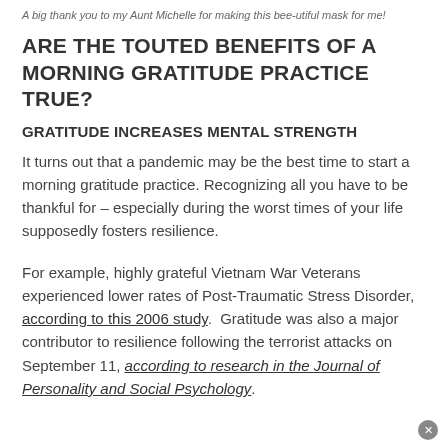A big thank you to my Aunt Michelle for making this bee-utiful mask for me!
ARE THE TOUTED BENEFITS OF A MORNING GRATITUDE PRACTICE TRUE?
GRATITUDE INCREASES MENTAL STRENGTH
It turns out that a pandemic may be the best time to start a morning gratitude practice. Recognizing all you have to be thankful for – especially during the worst times of your life supposedly fosters resilience.
For example, highly grateful Vietnam War Veterans experienced lower rates of Post-Traumatic Stress Disorder, according to this 2006 study. Gratitude was also a major contributor to resilience following the terrorist attacks on September 11, according to research in the Journal of Personality and Social Psychology.